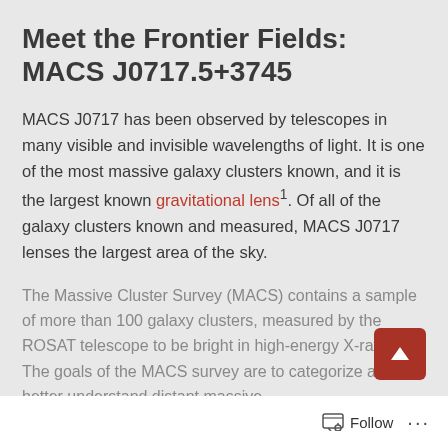Meet the Frontier Fields: MACS J0717.5+3745
MACS J0717 has been observed by telescopes in many visible and invisible wavelengths of light. It is one of the most massive galaxy clusters known, and it is the largest known gravitational lens¹. Of all of the galaxy clusters known and measured, MACS J0717 lenses the largest area of the sky.
The Massive Cluster Survey (MACS) contains a sample of more than 100 galaxy clusters, measured by the ROSAT telescope to be bright in high-energy X-ray light. The goals of the MACS survey are to categorize and better understand distant massive